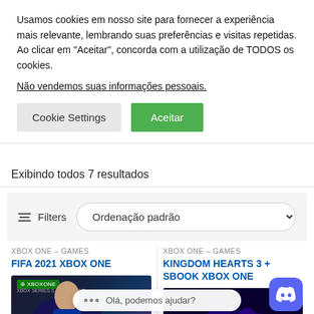Usamos cookies em nosso site para fornecer a experiência mais relevante, lembrando suas preferências e visitas repetidas. Ao clicar em “Aceitar”, concorda com a utilização de TODOS os cookies.
Não vendemos suas informações pessoais..
Cookie Settings
Aceitar
Exibindo todos 7 resultados
Filters  Ordenação padrão
XBOX ONE – GAMES
FIFA 2021 XBOX ONE
XBOX ONE – GAMES
KINGDOM HEARTS 3 + SBOOK XBOX ONE
[Figure (screenshot): FIFA 2021 Xbox One product image with Xbox One badge and player photo]
[Figure (screenshot): Kingdom Hearts 3 + Sbook Xbox One product image]
Olá, podemos ajudar?